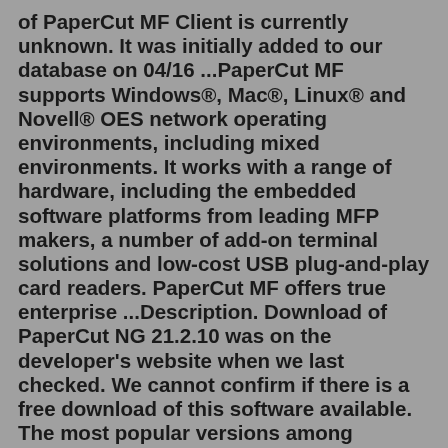of PaperCut MF Client is currently unknown. It was initially added to our database on 04/16 ...PaperCut MF supports Windows®, Mac®, Linux® and Novell® OES network operating environments, including mixed environments. It works with a range of hardware, including the embedded software platforms from leading MFP makers, a number of add-on terminal solutions and low-cost USB plug-and-play card readers. PaperCut MF offers true enterprise ...Description. Download of PaperCut NG 21.2.10 was on the developer's website when we last checked. We cannot confirm if there is a free download of this software available. The most popular versions among PaperCut NG users are 20.0, 19.2 and 18.3. This PC software was developed to work on Windows XP, Windows 7, Windows 8, Windows 10 or Windows ...There's a few variants of the client that ship with PaperCut. A lot of customers preference calling the \my_server\PCClient\win\pc-client.exe as part of a login script or policy since it allows the aut...